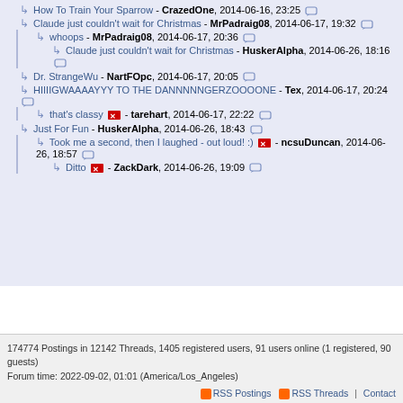How To Train Your Sparrow - CrazedOne, 2014-06-16, 23:25
Claude just couldn't wait for Christmas - MrPadraig08, 2014-06-17, 19:32
whoops - MrPadraig08, 2014-06-17, 20:36
Claude just couldn't wait for Christmas - HuskerAlpha, 2014-06-26, 18:16
Dr. StrangeWu - NartFOpc, 2014-06-17, 20:05
HIIIIGWAAAAYYY TO THE DANNNNNGERZOOOONE - Tex, 2014-06-17, 20:24
that's classy [flag] - tarehart, 2014-06-17, 22:22
Just For Fun - HuskerAlpha, 2014-06-26, 18:43
Took me a second, then I laughed - out loud! :) [flag] - ncsuDuncan, 2014-06-26, 18:57
Ditto [flag] - ZackDark, 2014-06-26, 19:09
174774 Postings in 12142 Threads, 1405 registered users, 91 users online (1 registered, 90 guests)
Forum time: 2022-09-02, 01:01 (America/Los_Angeles)
RSS Postings | RSS Threads | Contact